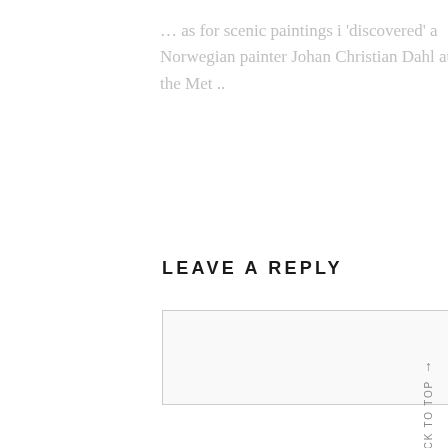… as for scenic paintings i 'discovered' a Norwegian painter Johan Christian Dahl at the Met ..
LEAVE A REPLY
Enter your comment here...
BACK TO TOP